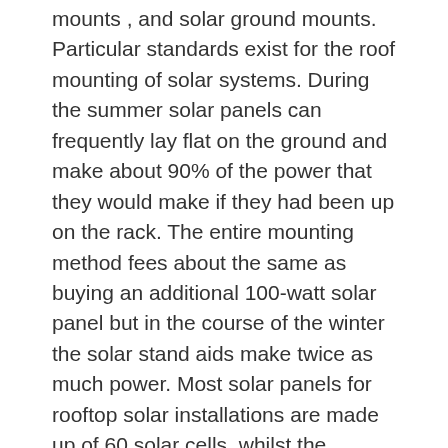mounts , and solar ground mounts. Particular standards exist for the roof mounting of solar systems. During the summer solar panels can frequently lay flat on the ground and make about 90% of the power that they would make if they had been up on the rack. The entire mounting method fees about the same as buying an additional 100-watt solar panel but in the course of the winter the solar stand aids make twice as much power. Most solar panels for rooftop solar installations are made up of 60 solar cells, whilst the normal for commercial solar installations is 72 cells (and can go up to 98 cells or far more). The subsequent step then is to calculate the total number of solar modules we want to mount at our internet site. This sort of mounting program is properly suited for internet sites where excavation is not achievable such as capped landfills and simplifies decommissioning or relocation of solar module systems. In addition, if your property utilizes a lot of electrical energy, your roof may not be huge